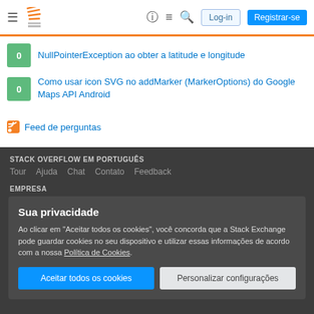Stack Overflow em Português — Log-in | Registrar-se
0 — NullPointerException ao obter a latitude e longitude
0 — Como usar icon SVG no addMarker (MarkerOptions) do Google Maps API Android
Feed de perguntas
STACK OVERFLOW EM PORTUGUÊS
Tour  Ajuda  Chat  Contato  Feedback
EMPRESA
Sua privacidade
Ao clicar em "Aceitar todos os cookies", você concorda que a Stack Exchange pode guardar cookies no seu dispositivo e utilizar essas informações de acordo com a nossa Política de Cookies.
Aceitar todos os cookies | Personalizar configurações